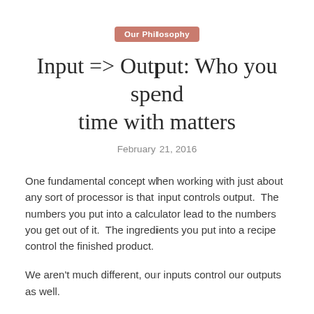Our Philosophy
Input => Output: Who you spend time with matters
February 21, 2016
One fundamental concept when working with just about any sort of processor is that input controls output.  The numbers you put into a calculator lead to the numbers you get out of it.  The ingredients you put into a recipe control the finished product.
We aren't much different, our inputs control our outputs as well.
This covers diet, if you eat low quality food you're going to